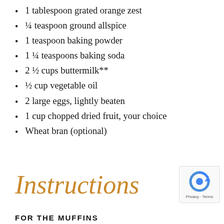1 tablespoon grated orange zest
¼ teaspoon ground allspice
1 teaspoon baking powder
1 ¼ teaspoons baking soda
2 ½ cups buttermilk**
½ cup vegetable oil
2 large eggs, lightly beaten
1 cup chopped dried fruit, your choice
Wheat bran (optional)
Instructions
FOR THE MUFFINS